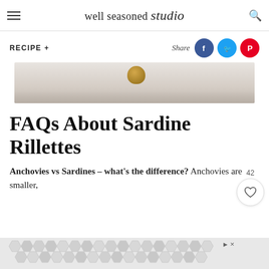well seasoned studio
RECIPE +
Share
[Figure (photo): Partial hero image of food on marble surface with a gold object visible]
FAQs About Sardine Rillettes
Anchovies vs Sardines – what's the difference? Anchovies are smaller,
[Figure (other): Advertisement banner with hexagonal pattern in grey and white]